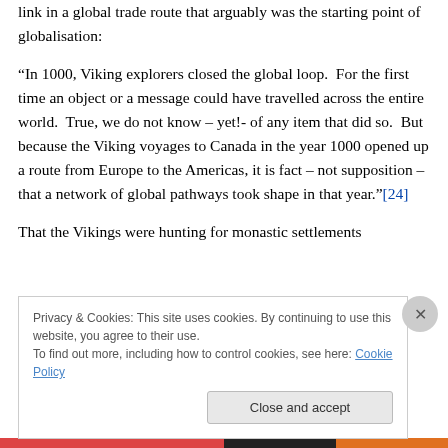link in a global trade route that arguably was the starting point of globalisation:
“In 1000, Viking explorers closed the global loop.  For the first time an object or a message could have travelled across the entire world.  True, we do not know – yet!- of any item that did so.  But because the Viking voyages to Canada in the year 1000 opened up a route from Europe to the Americas, it is fact – not supposition – that a network of global pathways took shape in that year.”[24]
That the Vikings were hunting for monastic settlements
Privacy & Cookies: This site uses cookies. By continuing to use this website, you agree to their use.
To find out more, including how to control cookies, see here: Cookie Policy
Close and accept